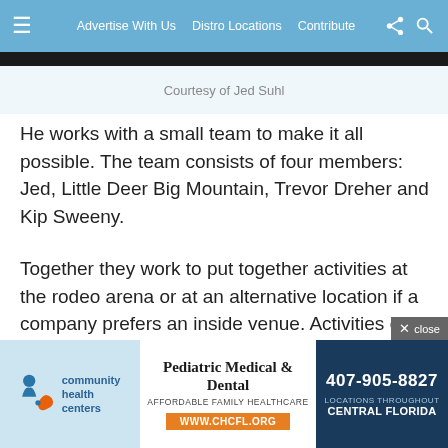≡  Advertise With Us   Distro Locations   Contribute
Courtesy of Jed Suhl
He works with a small team to make it all possible. The team consists of four members: Jed, Little Deer Big Mountain, Trevor Dreher and Kip Sweeny.
Together they work to put together activities at the rodeo arena or at an alternative location if a company prefers an inside venue. Activities can include everything from line dancing to building a tepee.
Jed's says his area of expertise is working on the
[Figure (advertisement): Community Health Centers — Pediatric Medical & Dental advertisement. Affordable Family Healthcare. www.chcfl.org. Phone: 407-905-8827. Locations throughout Central Florida.]